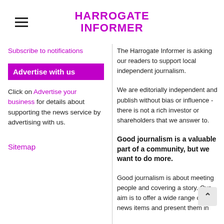HARROGATE INFORMER
Subscribe to notifications
Advertise with us
Click on Advertise your business for details about supporting the news service by advertising with us.
Sitemap
The Harrogate Informer is asking our readers to support local independent journalism.
We are editorially independent and publish without bias or influence - there is not a rich investor or shareholders that we answer to.
Good journalism is a valuable part of a community, but we want to do more.
Good journalism is about meeting people and covering a story. Our aim is to offer a wide range of news items and present them in